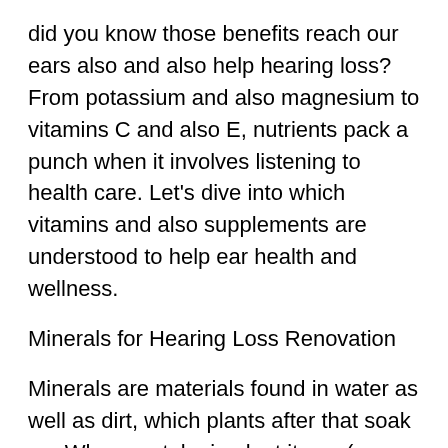did you know those benefits reach our ears also and also help hearing loss? From potassium and also magnesium to vitamins C and also E, nutrients pack a punch when it involves listening to health care. Let's dive into which vitamins and also supplements are understood to help ear health and wellness.
Minerals for Hearing Loss Renovation
Minerals are materials found in water as well as dirt, which plants after that soak up. When we take in plant items (or pets that have consumed these plant products), our bodies get to profit of these nourishing nutrients.